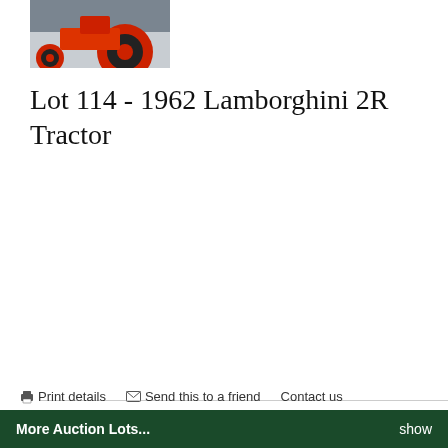[Figure (photo): Partial photo of a red-wheeled tractor (Lamborghini 2R), cropped showing rear wheels on a surface]
Lot 114 - 1962 Lamborghini 2R Tractor
| Lot Number | 114 |
| Registration | EU Registered |
| Chassis Number | 11145 |
| Engine Number | 11145 |
| Result | Sold – £8,960 |
Print details   Send this to a friend   Contact us
More Auction Lots...   show